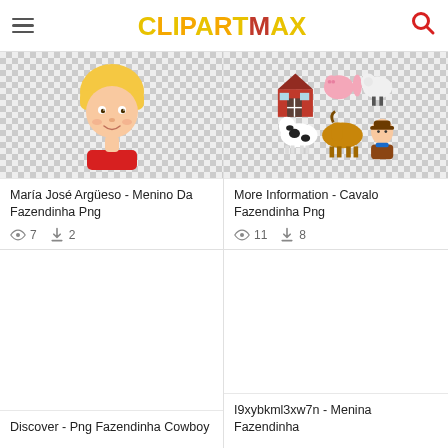ClipartMax
[Figure (illustration): Cartoon blonde boy face with red shirt on checkered transparent background]
María José Argüeso - Menino Da Fazendinha Png
👁 7  ⬇ 2
[Figure (illustration): Farm animals clipart: red barn, pink pig, white sheep, black and white cow, brown horse, cowboy character on checkered background]
More Information - Cavalo Fazendinha Png
👁 11  ⬇ 8
[Figure (illustration): Empty white card area for Discover - Png Fazendinha Cowboy]
Discover - Png Fazendinha Cowboy
[Figure (illustration): Empty white card area for I9xybkml3xw7n - Menina Fazendinha]
I9xybkml3xw7n - Menina Fazendinha